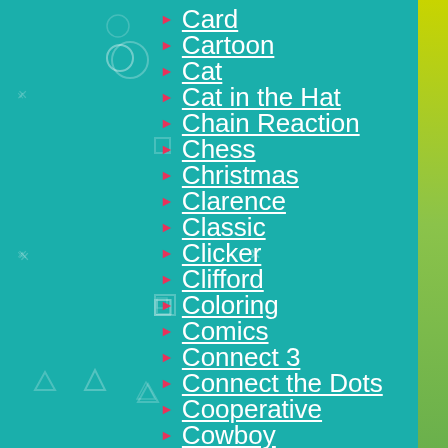Card
Cartoon
Cat
Cat in the Hat
Chain Reaction
Chess
Christmas
Clarence
Classic
Clicker
Clifford
Coloring
Comics
Connect 3
Connect the Dots
Cooperative
Cowboy
Craig of the Creek
Crash & Bernstein